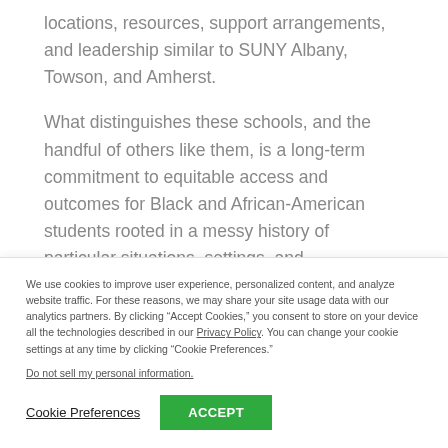locations, resources, support arrangements, and leadership similar to SUNY Albany, Towson, and Amherst.
What distinguishes these schools, and the handful of others like them, is a long-term commitment to equitable access and outcomes for Black and African-American students rooted in a messy history of particular situations, settings, and
We use cookies to improve user experience, personalized content, and analyze website traffic. For these reasons, we may share your site usage data with our analytics partners. By clicking “Accept Cookies,” you consent to store on your device all the technologies described in our Privacy Policy. You can change your cookie settings at any time by clicking “Cookie Preferences.”
Do not sell my personal information.
Cookie Preferences
ACCEPT